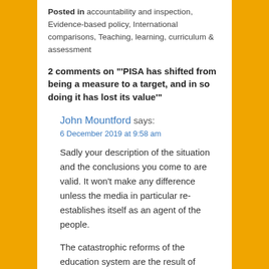Posted in accountability and inspection, Evidence-based policy, International comparisons, Teaching, learning, curriculum & assessment
2 comments on "'PISA has shifted from being a measure to a target, and in so doing it has lost its value'"
John Mountford says:
6 December 2019 at 9:58 am
Sadly your description of the situation and the conclusions you come to are valid. It won't make any difference unless the media in particular re-establishes itself as an agent of the people.
The catastrophic reforms of the education system are the result of basically unchecked political meddling.The consequences are clear for those with the sense to recognise.
We need to convince the media, professional...